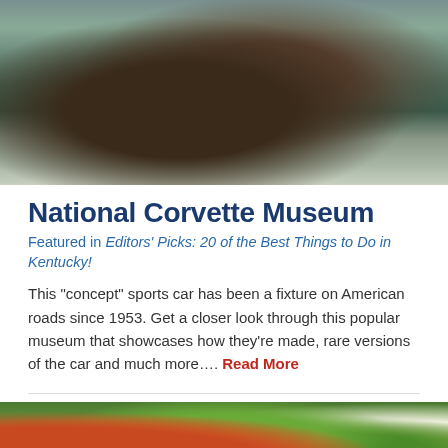[Figure (photo): A jockey riding a brown racehorse at full gallop on a racetrack, with crowds of spectators visible in the background]
National Corvette Museum
Featured in Editors' Picks: 20 of the Best Things to Do in Kentucky!
This "concept" sports car has been a fixture on American roads since 1953. Get a closer look through this popular museum that showcases how they're made, rare versions of the car and much more.... Read More
[Figure (photo): Close-up photo of colorful food items including orange carrot slices and green vegetables on a plate]